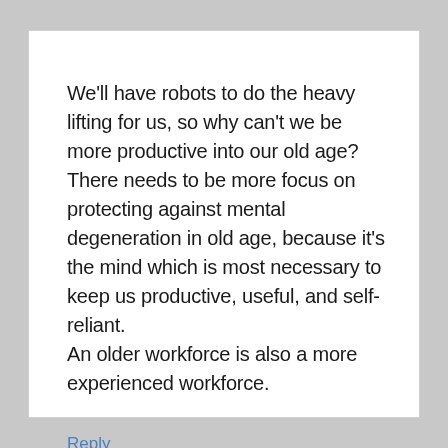We'll have robots to do the heavy lifting for us, so why can't we be more productive into our old age? There needs to be more focus on protecting against mental degeneration in old age, because it's the mind which is most necessary to keep us productive, useful, and self-reliant.
An older workforce is also a more experienced workforce.
Reply